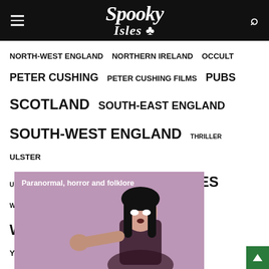Spooky Isles
NORTH-WEST ENGLAND   NORTHERN IRELAND   OCCULT
PETER CUSHING   PETER CUSHING FILMS   PUBS
SCOTLAND   SOUTH-EAST ENGLAND
SOUTH-WEST ENGLAND   THRILLER   ULSTER
UNIVERSAL HORROR   VAMPIRES   WALES   WEREWOLVES
WEST MIDLANDS   WITCHCRAFT   YORKSHIRE AND THE HUMBER
[Figure (photo): Horror image of a woman with dark hair and white eyes, against a purple background, with overlay text 'Paranormal, horror and folklore']